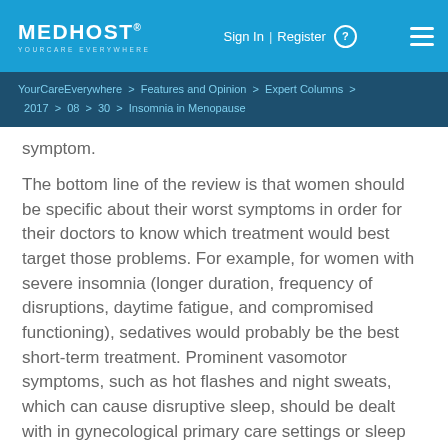MEDHOST YOURCARE EVERYWHERE | Sign In | Register
YourCareEverywhere > Features and Opinion > Expert Columns > 2017 > 08 > 30 > Insomnia in Menopause
symptom.
The bottom line of the review is that women should be specific about their worst symptoms in order for their doctors to know which treatment would best target those problems. For example, for women with severe insomnia (longer duration, frequency of disruptions, daytime fatigue, and compromised functioning), sedatives would probably be the best short-term treatment. Prominent vasomotor symptoms, such as hot flashes and night sweats, which can cause disruptive sleep, should be dealt with in gynecological primary care settings or sleep clinics. Hormone therapy is often warranted in such cases, and the